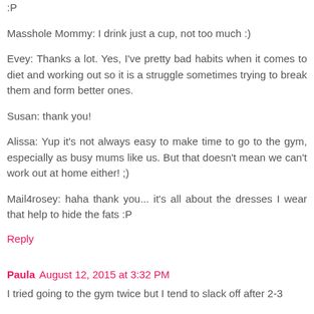:P
Masshole Mommy: I drink just a cup, not too much :)
Evey: Thanks a lot. Yes, I've pretty bad habits when it comes to diet and working out so it is a struggle sometimes trying to break them and form better ones.
Susan: thank you!
Alissa: Yup it's not always easy to make time to go to the gym, especially as busy mums like us. But that doesn't mean we can't work out at home either! ;)
Mail4rosey: haha thank you... it's all about the dresses I wear that help to hide the fats :P
Reply
Paula  August 12, 2015 at 3:32 PM
I tried going to the gym twice but I tend to slack off after 2-3